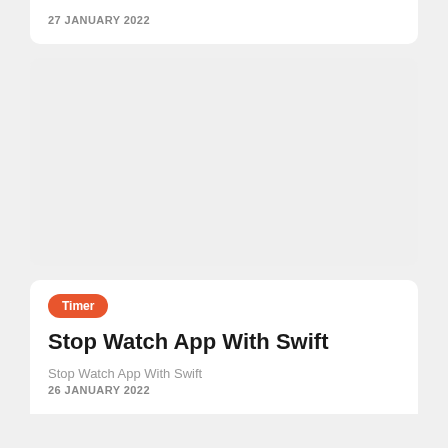27 JANUARY 2022
[Figure (other): Gray placeholder image block for an article]
Timer
Stop Watch App With Swift
Stop Watch App With Swift
26 JANUARY 2022